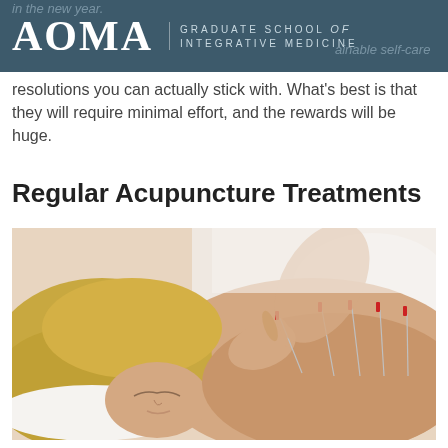AOMA Graduate School of Integrative Medicine
resolutions you can actually stick with. What's best is that they will require minimal effort, and the rewards will be huge.
Regular Acupuncture Treatments
[Figure (photo): A woman lying face down receiving acupuncture treatment on her back, with several red-tipped acupuncture needles inserted, and a practitioner's hands inserting a needle.]